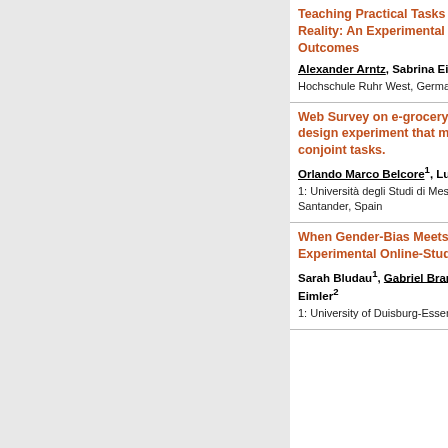Teaching Practical Tasks with Virtual Reality and Augmented Reality: An Experimental Study Comparing Learning Outcomes
Alexander Arntz, Sabrina Eimler, Uwe Handmann
Hochschule Ruhr West, Germany
Web Survey on e-grocery consumers' attitudes- An efficient design experiment that mixes stated preference and rating conjoint tasks.
Orlando Marco Belcore1, Luigi Dell'Olio2, Massimo Di Gangi1
1: Università degli Studi di Messina, Italy; 2: Universidad de Cantabria, Santander, Spain
When Gender-Bias Meets Fake-News - Results of Two Experimental Online-Studies
Sarah Bludau1, Gabriel Brandenberg2, Lukas Erle2, Sabrina Eimler2
1: University of Duisburg-Essen,